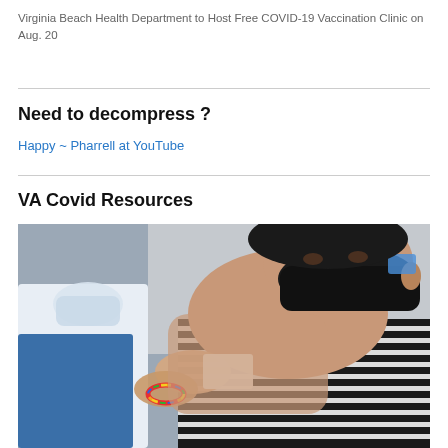Virginia Beach Health Department to Host Free COVID-19 Vaccination Clinic on Aug. 20
Need to decompress ?
Happy ~ Pharrell at YouTube
VA Covid Resources
[Figure (photo): A healthcare worker wearing a blue uniform and white face covering applies a bandage to the upper arm of a young man wearing a black face mask and striped sleeveless shirt. The healthcare worker is wearing a rainbow bracelet.]